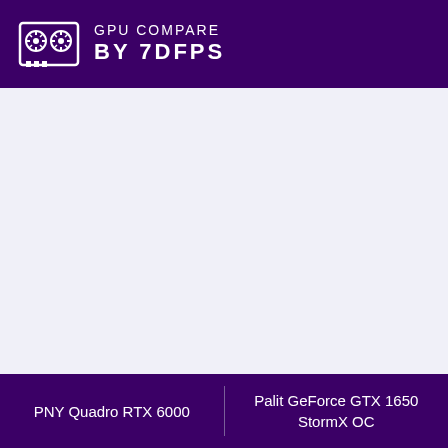GPU COMPARE BY 7DFPS
PNY Quadro RTX 6000 | Palit GeForce GTX 1650 StormX OC